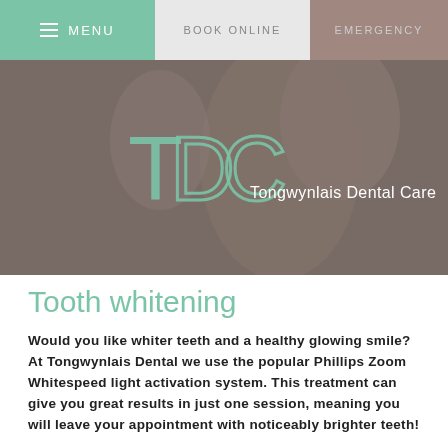MENU | BOOK ONLINE | EMERGENCY
[Figure (photo): Hero banner showing a smiling woman with dental practice logo overlay. Logo reads 'TDC' with text 'Tongwynlais Dental Care' in white on a warm grey/brown tinted photo background.]
Tooth whitening
Would you like whiter teeth and a healthy glowing smile? At Tongwynlais Dental we use the popular Phillips Zoom Whitespeed light activation system. This treatment can give you great results in just one session, meaning you will leave your appointment with noticeably brighter teeth!